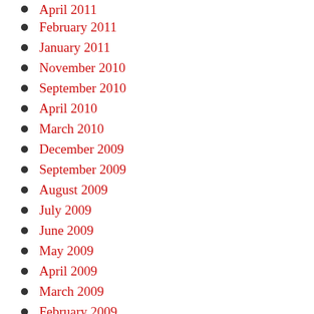April 2011
February 2011
January 2011
November 2010
September 2010
April 2010
March 2010
December 2009
September 2009
August 2009
July 2009
June 2009
May 2009
April 2009
March 2009
February 2009
January 2009